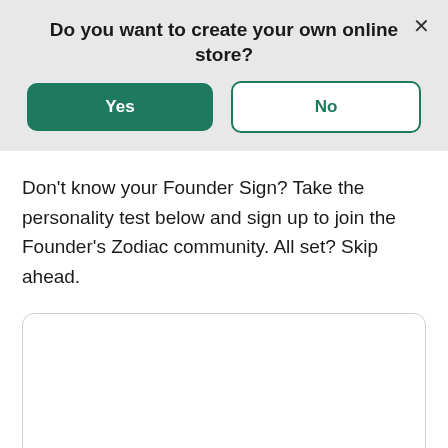Do you want to create your own online store?
[Figure (screenshot): Two buttons: a green 'Yes' button and a white/green-outlined 'No' button, with an X close button in the top right]
Don't know your Founder Sign? Take the personality test below and sign up to join the Founder's Zodiac community. All set? Skip ahead.
[Figure (other): Empty white card/box with rounded corners and a light gray border]